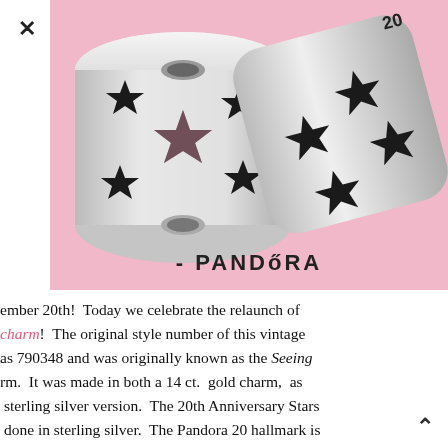[Figure (photo): Two Pandora silver star charm beads on a pink background with PANDORA logo text at the bottom]
ember 20th! Today we celebrate the relaunch of charm! The original style number of this vintage as 790348 and was originally known as the Seeing rm. It was made in both a 14 ct. gold charm, as sterling silver version. The 20th Anniversary Stars done in sterling silver. The Pandora 20 hallmark is d on the front of the charm, near the far left